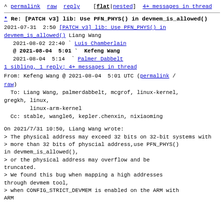^ permalink  raw  reply    [flat|nested]  4+ messages in thread
* Re: [PATCH v3] lib: Use PFN_PHYS() in devmem_is_allowed()
2021-07-31  2:50  [PATCH v3] lib: Use PFN_PHYS() in devmem_is_allowed()  Liang Wang
  2021-08-02 22:40  ` Luis Chamberlain
@ 2021-08-04  5:01  `  Kefeng Wang
  2021-08-04  5:14  `  Palmer Dabbelt
  1 sibling, 1 reply; 4+ messages in thread
From: Kefeng Wang @ 2021-08-04  5:01 UTC (permalink / raw)
To: Liang Wang, palmerdabbelt, mcgrof, linux-kernel, gregkh, linux,
        linux-arm-kernel
  Cc: stable, wangle6, kepler.chenxin, nixiaoming
On 2021/7/31 10:50, Liang Wang wrote:
> The physical address may exceed 32 bits on 32-bit systems with
> more than 32 bits of physcial address,use PFN_PHYS() in devmem_is_allowed(),
> or the physical address may overflow and be truncated.
> We found this bug when mapping a high addresses through devmem tool,
> when CONFIG_STRICT_DEVMEM is enabled on the ARM with
ARMv4PAE...